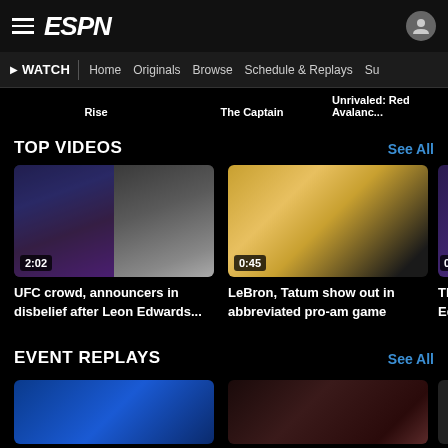ESPN
WATCH | Home | Originals | Browse | Schedule & Replays | Su...
Rise   The Captain   Unrivaled: Red Avalanc...
TOP VIDEOS
See All
[Figure (photo): UFC highlight video thumbnail, split showing fight action and announcer in disbelief, duration 2:02]
UFC crowd, announcers in disbelief after Leon Edwards...
[Figure (photo): Basketball video thumbnail showing players on court, duration 0:45]
LeBron, Tatum show out in abbreviated pro-am game
[Figure (photo): Partial video thumbnail, duration 0:4...]
The C... Edwa...
EVENT REPLAYS
See All
[Figure (photo): Event replay thumbnail in blue tones]
[Figure (photo): Event replay thumbnail in dark tones]
[Figure (photo): Partial event replay thumbnail]